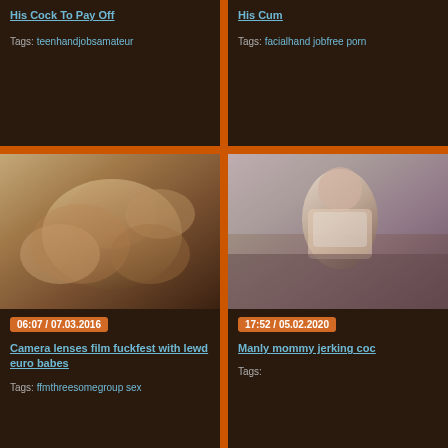His Cock To Pay Off
Tags: teenhandjobsamateur
His Cum
Tags: facialhand jobfree porn
[Figure (photo): Explicit adult video thumbnail showing group sexual activity]
06:07 / 07.03.2016
Camera lenses film fuckfest with lewd euro babes
Tags: ffmthreesomegroup sex
[Figure (photo): Explicit adult video thumbnail showing a woman in revealing clothing]
17:52 / 05.02.2020
Manly mommy jerking coc
Tags: